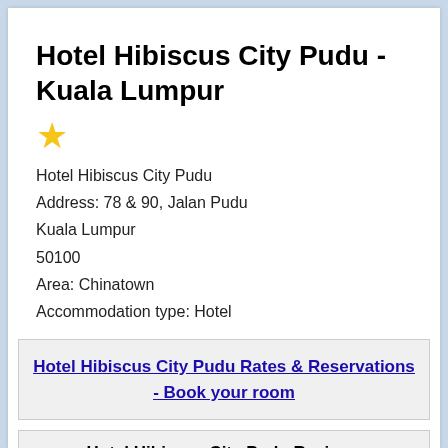Hotel Hibiscus City Pudu - Kuala Lumpur
[Figure (illustration): Gold/yellow star rating icon]
Hotel Hibiscus City Pudu
Address: 78 & 90, Jalan Pudu
Kuala Lumpur
50100
Area: Chinatown
Accommodation type: Hotel
Hotel Hibiscus City Pudu Rates & Reservations - Book your room
Hotel Hibiscus City Pudu Reviews
Hotel Hibiscus City Pudu average rating